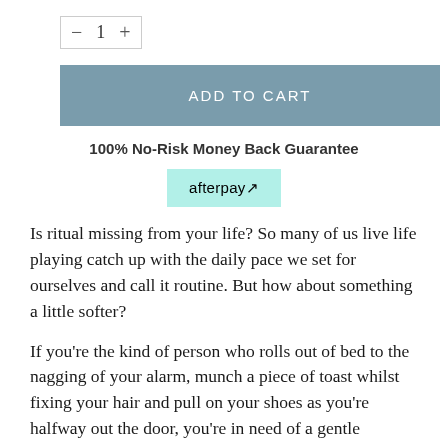[Figure (other): Quantity selector widget showing minus button, number 1, and plus button in a bordered box]
ADD TO CART
100% No-Risk Money Back Guarantee
[Figure (logo): Afterpay logo badge with teal/mint background]
Is ritual missing from your life? So many of us live life playing catch up with the daily pace we set for ourselves and call it routine. But how about something a little softer?
If you're the kind of person who rolls out of bed to the nagging of your alarm, munch a piece of toast whilst fixing your hair and pull on your shoes as you're halfway out the door, you're in need of a gentle